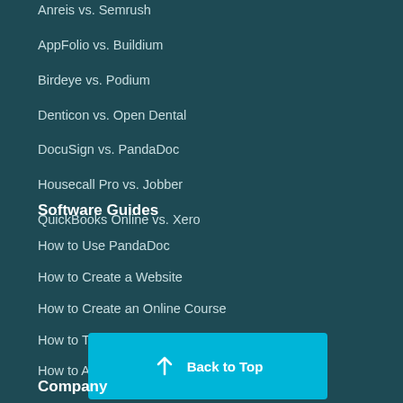Anreis vs. Semrush
AppFolio vs. Buildium
Birdeye vs. Podium
Denticon vs. Open Dental
DocuSign vs. PandaDoc
Housecall Pro vs. Jobber
QuickBooks Online vs. Xero
Software Guides
How to Use PandaDoc
How to Create a Website
How to Create an Online Course
How to Track Keyword Ranking
How to Analyze Competitor Website Traffic
Back to Top
Company